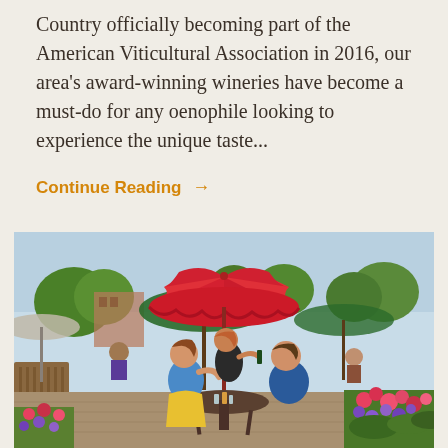Country officially becoming part of the American Viticultural Association in 2016, our area's award-winning wineries have become a must-do for any oenophile looking to experience the unique taste...
Continue Reading →
[Figure (photo): Outdoor patio dining scene with people seated at tables under a large red umbrella and black umbrella. A server appears to be pouring drinks. Colorful flowers visible in the foreground, trees and buildings in the background.]